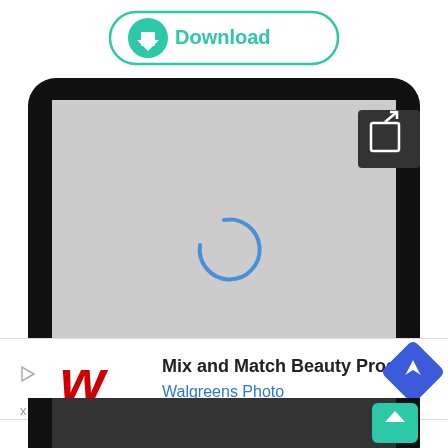[Figure (screenshot): Screenshot of a mobile web page with a Download button at the top (teal outlined pill button with download icon), a smartphone frame with a gray loading area showing a blue spinner, and a Walgreens Photo advertisement banner at the bottom showing 'Mix and Match Beauty Products' with the Walgreens W logo and a blue diamond navigation icon. A green scroll-to-top button is visible at bottom right.]